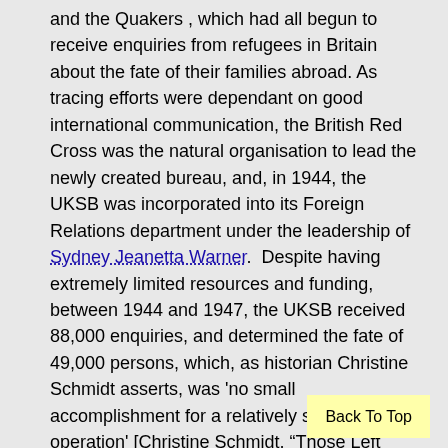and the Quakers , which had all begun to receive enquiries from refugees in Britain about the fate of their families abroad. As tracing efforts were dependant on good international communication, the British Red Cross was the natural organisation to lead the newly created bureau, and, in 1944, the UKSB was incorporated into its Foreign Relations department under the leadership of Sydney Jeanetta Warner.  Despite having extremely limited resources and funding, between 1944 and 1947, the UKSB received 88,000 enquiries, and determined the fate of 49,000 persons, which, as historian Christine Schmidt asserts, was 'no small accomplishment for a relatively short-lived operation' [Christine Schmidt, “Those Left Behind, Early Search Efforts in Wartime and Post-War Britain”, in Henning Borggräfe, Christian Höschler, and Isabel Panek (eds), Tracing and Documenting Nazi Victims Past and Present (De Gruyter Oldenbourg, 2020), 111].